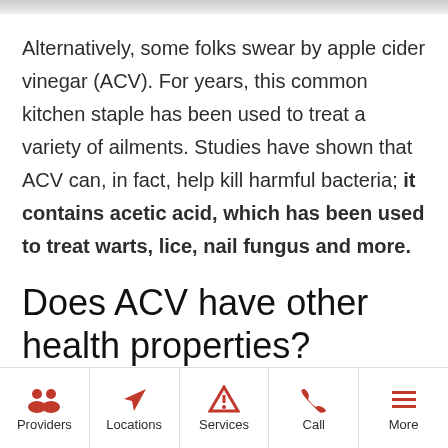Alternatively, some folks swear by apple cider vinegar (ACV). For years, this common kitchen staple has been used to treat a variety of ailments. Studies have shown that ACV can, in fact, help kill harmful bacteria; it contains acetic acid, which has been used to treat warts, lice, nail fungus and more.
Does ACV have other health properties?
Providers | Locations | Services | Call | More